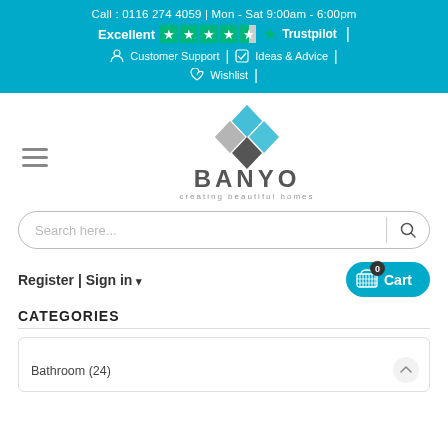Call : 0116 274 4059 | Mon - Sat 9:00am - 6:00pm
Excellent ★★★★½ Trustpilot
Customer Support | Ideas & Advice | Wishlist
[Figure (logo): Banyo logo with diamond tile pattern and text 'BANYO creating beautiful homes']
Search here...
Register | Sign in ▾
0 Cart
CATEGORIES
Bathroom (24)